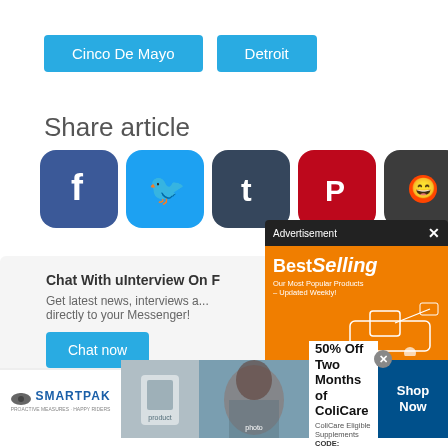Cinco De Mayo
Detroit
Share article
[Figure (infographic): Social media share icons: Facebook, Twitter, Tumblr, Pinterest, Reddit, Flipboard]
[Figure (infographic): Chat With uInterview On Facebook Messenger promo box with Chat now button]
[Figure (infographic): Advertisement popup: BestSelling - Our Most Popular Products Updated Weekly - AliExpress Shop Now]
[Figure (infographic): SmartPak bottom banner ad: 50% Off Two Months of ColiCare, ColiCare Eligible Supplements, CODE: COLICARE10, Shop Now]